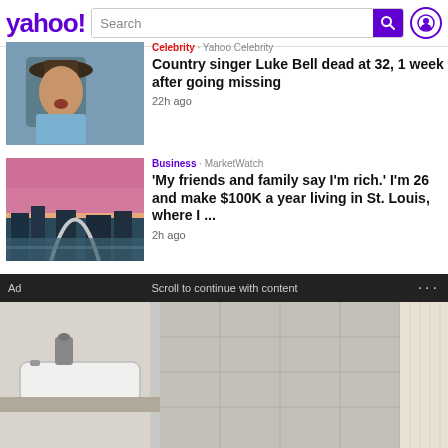[Figure (screenshot): Yahoo! logo and search bar header with user icon]
[Figure (photo): Country singer Luke Bell wearing cowboy hat]
Celebrity · Yahoo Celebrity
Country singer Luke Bell dead at 32, 1 week after going missing
22h ago
[Figure (photo): St. Louis Gateway Arch skyline at sunset]
Business · MarketWatch
'My friends and family say I'm rich.' I'm 26 and make $100K a year living in St. Louis, where I ...
2h ago
Ad   Scroll to continue with content
[Figure (photo): Bathroom sink and shower area advertisement image]